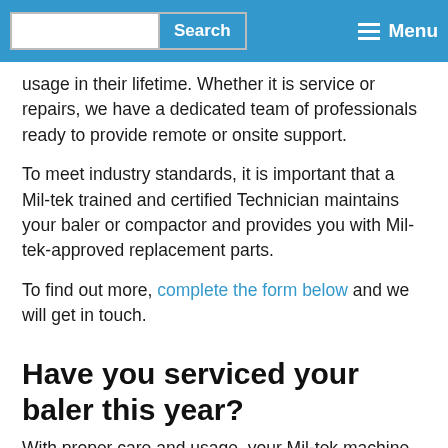Search | Menu
usage in their lifetime. Whether it is service or repairs, we have a dedicated team of professionals ready to provide remote or onsite support.
To meet industry standards, it is important that a Mil-tek trained and certified Technician maintains your baler or compactor and provides you with Mil-tek-approved replacement parts.
To find out more, complete the form below and we will get in touch.
Have you serviced your baler this year?
With proper care and usage, your Mil-tek machine should last well beyond its 10-year life span.
In fact, the very first baler we built back in 1991 is still